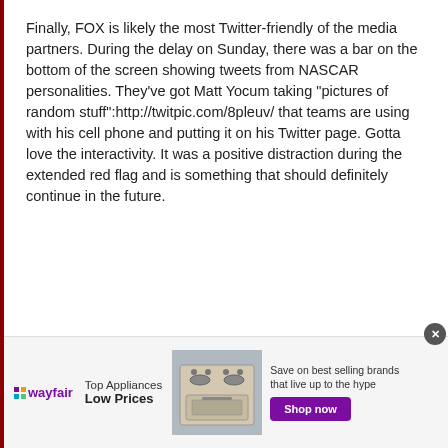Finally, FOX is likely the most Twitter-friendly of the media partners. During the delay on Sunday, there was a bar on the bottom of the screen showing tweets from NASCAR personalities. They've got Matt Yocum taking "pictures of random stuff":http://twitpic.com/8pleuv/ that teams are using with his cell phone and putting it on his Twitter page. Gotta love the interactivity. It was a positive distraction during the extended red flag and is something that should definitely continue in the future.
[Figure (other): Wayfair advertisement banner: Wayfair logo, 'Top Appliances Low Prices', image of a stove/range, 'Save on best selling brands that live up to the hype', purple 'Shop now' button]